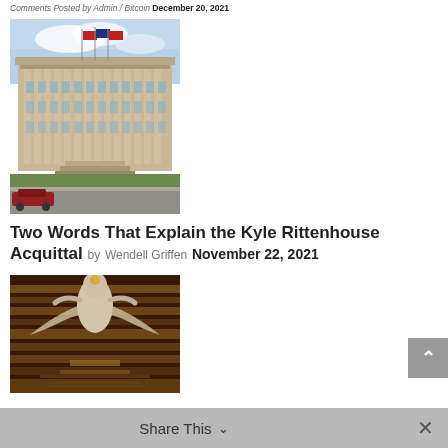Comments Posted by Admin / Bitcoin December 20, 2021
[Figure (photo): Exterior photo of a large neoclassical government or courthouse building with columns, flags, and a red car parked in front]
Two Words That Explain the Kyle Rittenhouse Acquittal
by Wendell Griffen November 22, 2021
[Figure (photo): Sculpture or mural featuring a winged figure with decorative golden and dark brown background]